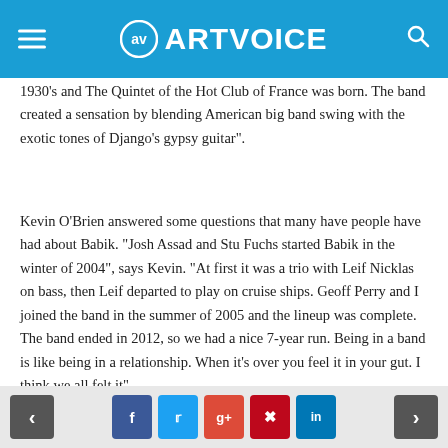ARTVOICE
1930's and The Quintet of the Hot Club of France was born. The band created a sensation by blending American big band swing with the exotic tones of Django's gypsy guitar".
Kevin O'Brien answered some questions that many have people have had about Babik. "Josh Assad and Stu Fuchs started Babik in the winter of 2004", says Kevin. "At first it was a trio with Leif Nicklas on bass, then Leif departed to play on cruise ships. Geoff Perry and I joined the band in the summer of 2005 and the lineup was complete. The band ended in 2012, so we had a nice 7-year run. Being in a band is like being in a relationship. When it's over you feel it in your gut. I think we all felt it".
“As the wheels were falling off Babik, Josh and I talked